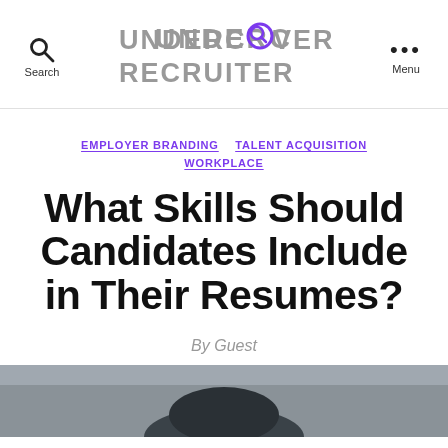Search | UNDERCOVER RECRUITER | Menu
EMPLOYER BRANDING   TALENT ACQUISITION   WORKPLACE
What Skills Should Candidates Include in Their Resumes?
By Guest
[Figure (photo): Partial photo of a person wearing a black hat, cropped at bottom of page]